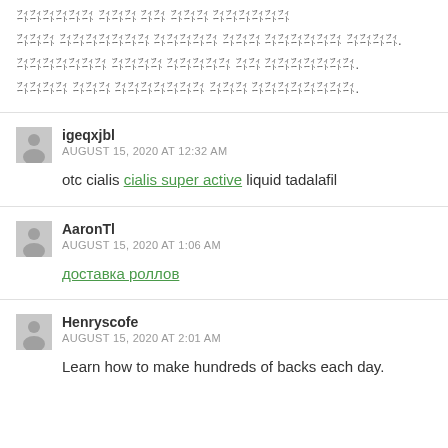[garbled text in unknown encoding - multiple lines]
igeqxjbl
AUGUST 15, 2020 AT 12:32 AM
otc cialis cialis super active liquid tadalafil
AaronTl
AUGUST 15, 2020 AT 1:06 AM
доставка роллов
Henryscofe
AUGUST 15, 2020 AT 2:01 AM
Learn how to make hundreds of backs each day.